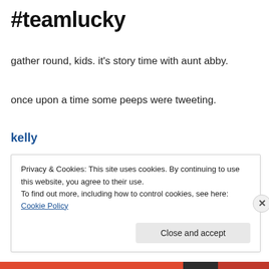#teamlucky
gather round, kids. it's story time with aunt abby.
once upon a time some peeps were tweeting.
kelly
[Figure (other): Broken image placeholder with small landscape icon, inside a bordered rectangle]
Privacy & Cookies: This site uses cookies. By continuing to use this website, you agree to their use.
To find out more, including how to control cookies, see here: Cookie Policy
Close and accept